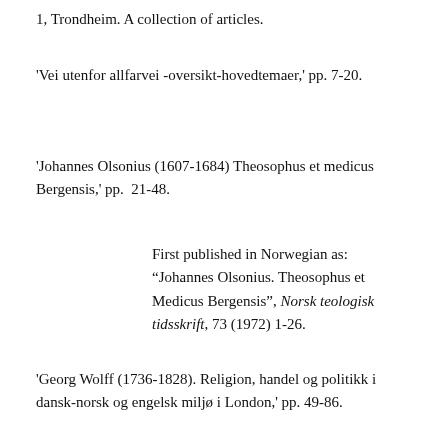1, Trondheim. A collection of articles.
'Vei utenfor allfarvei -oversikt-hovedtemaer,' pp. 7-20.
'Johannes Olsonius (1607-1684) Theosophus et medicus Bergensis,' pp.  21-48.
First published in Norwegian as: "Johannes Olsonius. Theosophus et Medicus Bergensis", Norsk teologisk tidsskrift, 73 (1972) 1-26.
'Georg Wolff (1736-1828). Religion, handel og politikk i dansk-norsk og engelsk miljø i London,' pp. 49-86.